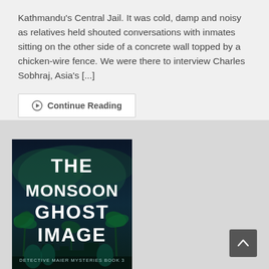Kathmandu's Central Jail. It was cold, damp and noisy as relatives held shouted conversations with inmates sitting on the other side of a concrete wall topped by a chicken-wire fence. We were there to interview Charles Sobhraj, Asia's [...]
Continue Reading
[Figure (illustration): Book cover for 'The Monsoon Ghost Image' - Detective Maier Mysteries Book 3, dark blue-green toned cover with palm trees and a building silhouette, large bold white text]
[Figure (other): Scroll to top button - dark grey square button with upward-pointing chevron arrow]